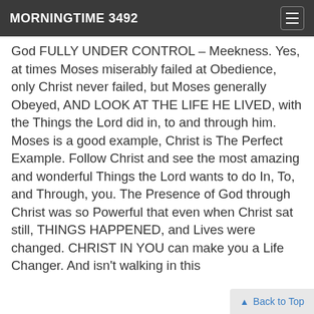MORNINGTIME 3492
God FULLY UNDER CONTROL – Meekness. Yes, at times Moses miserably failed at Obedience, only Christ never failed, but Moses generally Obeyed, AND LOOK AT THE LIFE HE LIVED, with the Things the Lord did in, to and through him. Moses is a good example, Christ is The Perfect Example. Follow Christ and see the most amazing and wonderful Things the Lord wants to do In, To, and Through, you. The Presence of God through Christ was so Powerful that even when Christ sat still, THINGS HAPPENED, and Lives were changed. CHRIST IN YOU can make you a Life Changer. And isn't walking in this